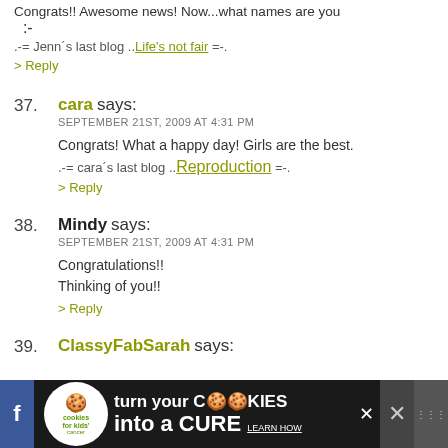Congrats!! Awesome news! Now...what names are you
:-
.-= Jenn´s last blog ..Life's not fair =-.
> Reply
37. cara says: SEPTEMBER 21ST, 2009 AT 4:31 PM — Congrats! What a happy day! Girls are the best. .-= cara´s last blog ..Reproduction =-. > Reply
38. Mindy says: SEPTEMBER 21ST, 2009 AT 4:31 PM — Congratulations!! Thinking of you!! > Reply
39. ClassyFabSarah says:
[Figure (other): Advertisement banner: cookies for kids cancer — turn your cookies into a CURE LEARN HOW]